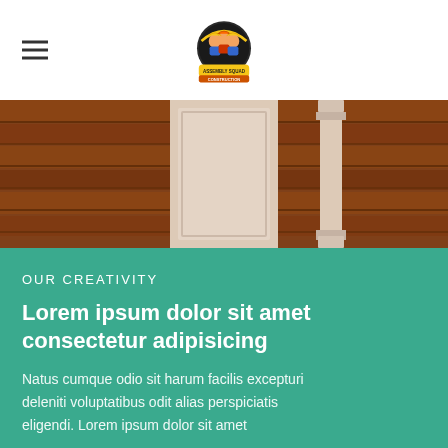Assembly Squad Construction logo and navigation
[Figure (photo): Close-up photo of dark walnut hardwood flooring with white painted wainscoting and a decorative column]
OUR CREATIVITY
Lorem ipsum dolor sit amet consectetur adipisicing
Natus cumque odio sit harum facilis excepturi deleniti voluptatibus odit alias perspiciatis eligendi. Lorem ipsum dolor sit amet